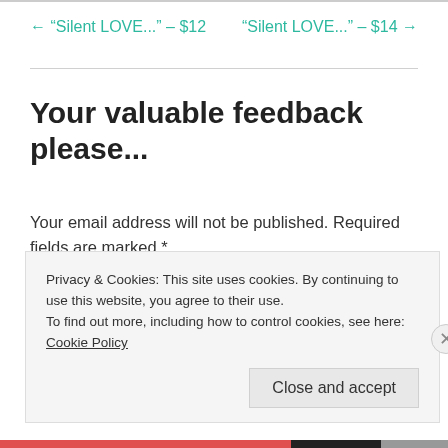← “Silent LOVE...” – $12
“Silent LOVE...” – $14 →
Your valuable feedback please...
Your email address will not be published. Required fields are marked *
Comment *
Privacy & Cookies: This site uses cookies. By continuing to use this website, you agree to their use.
To find out more, including how to control cookies, see here: Cookie Policy
Close and accept